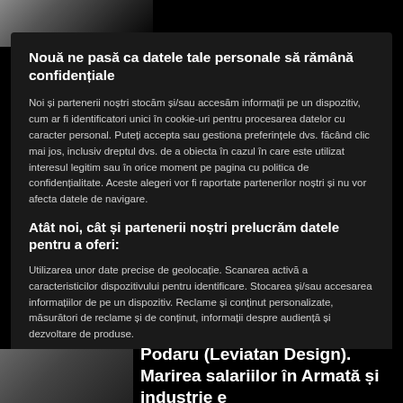[Figure (photo): Top banner with photo of a person in a suit on left, dark background on right]
Nouă ne pasă ca datele tale personale să rămână confidențiale
Noi și partenerii noștri stocăm și/sau accesăm informații pe un dispozitiv, cum ar fi identificatori unici în cookie-uri pentru procesarea datelor cu caracter personal. Puteți accepta sau gestiona preferințele dvs. făcând clic mai jos, inclusiv dreptul dvs. de a obiecta în cazul în care este utilizat interesul legitim sau în orice moment pe pagina cu politica de confidențialitate. Aceste alegeri vor fi raportate partenerilor noștri și nu vor afecta datele de navigare.
Atât noi, cât și partenerii noștri prelucrăm datele pentru a oferi:
Utilizarea unor date precise de geolocație. Scanarea activă a caracteristicilor dispozitivului pentru identificare. Stocarea și/sau accesarea informațiilor de pe un dispozitiv. Reclame și conținut personalizate, măsurători de reclame și de conținut, informații despre audiență și dezvoltare de produse.
Listă parteneri (furnizori)
[Figure (photo): Bottom strip with a person photo on left and Romanian text about salary increases in Army and industry on right]